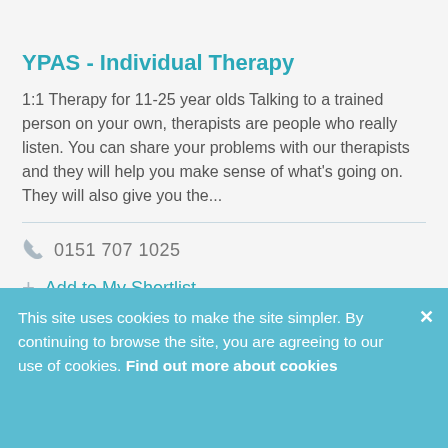[Figure (logo): Pink hippo mascot icon with text 'Local Offer' beside it]
YPAS - Individual Therapy
1:1 Therapy for 11-25 year olds Talking to a trained person on your own, therapists are people who really listen. You can share your problems with our therapists and they will help you make sense of what's going on. They will also give you the...
0151 707 1025
Add to My Shortlist
This site uses cookies to make the site simpler. By continuing to browse the site, you are agreeing to our use of cookies. Find out more about cookies